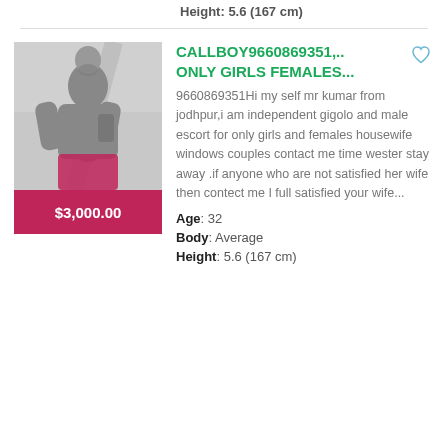Height: 5.6 (167 cm)
[Figure (photo): Black and white photo of a shirtless muscular man with tattoos, outdoors. Below the photo is a red/pink price bar showing $3,000.00]
CALLBOY9660869351,.. ONLY GIRLS FEMALES...
9660869351Hi my self mr kumar from jodhpur,i am independent gigolo and male escort for only girls and females housewife windows couples contact me time wester stay away .if anyone who are not satisfied her wife then contect me I full satisfied your wife...
Age: 32
Body: Average
Height: 5.6 (167 cm)